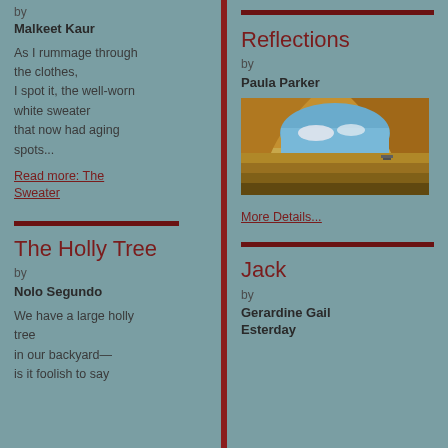by
Malkeet Kaur
As I rummage through the clothes,
I spot it, the well-worn white sweater
that now had aging spots...
Read more: The Sweater
[Figure (other): Decorative horizontal divider bar in dark red]
The Holly Tree
by
Nolo Segundo
We have a large holly tree
in our backyard—
is it foolish to say
[Figure (other): Decorative horizontal divider bar in dark red]
Reflections
by
Paula Parker
[Figure (photo): Landscape photo showing a rock arch or overhang with golden/orange rock formations framing a sky reflected in water or a flat plain below, with a vehicle visible in the distance]
More Details...
[Figure (other): Decorative horizontal divider bar in dark red]
Jack
by
Gerardine Gail Esterday